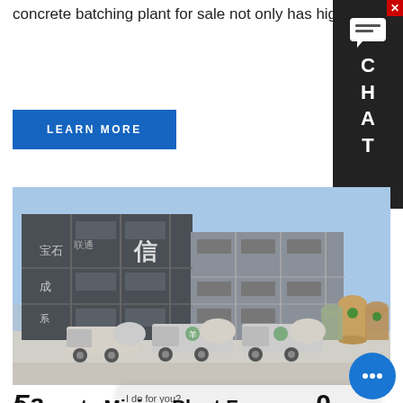concrete batching plant for sale not only has high working efficiency, but also can produce high-quality concrete
LEARN MORE
[Figure (photo): A large industrial concrete batching plant facility with dark grey multi-storey building with Chinese characters, and several concrete mixer trucks parked in front with storage silos on the right side.]
[Figure (other): Chat widget on right side with message icon, letters C H A T on dark background.]
Fa...0
Concrete Mixing Plant For
I do for you?
nail add. with equipment inquiry, we will reply you with detail.